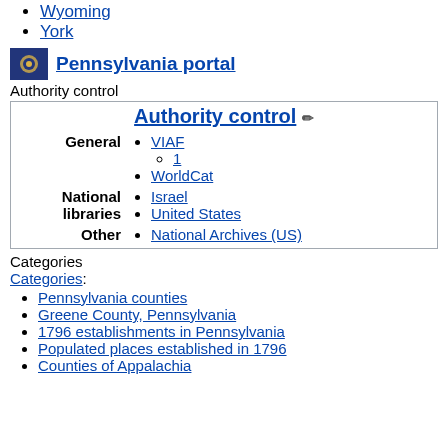Wyoming
York
[Figure (logo): Pennsylvania state flag icon, blue background with state seal]
Pennsylvania portal
Authority control
Authority control
VIAF
1
WorldCat
Israel
United States
National Archives (US)
Categories
Categories:
Pennsylvania counties
Greene County, Pennsylvania
1796 establishments in Pennsylvania
Populated places established in 1796
Counties of Appalachia